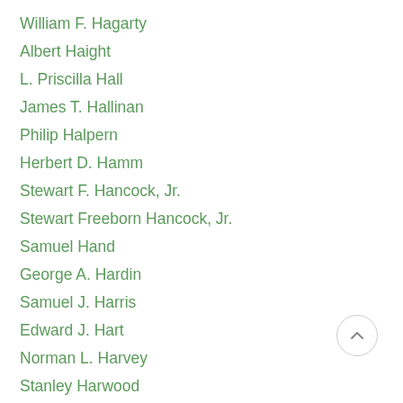William F. Hagarty
Albert Haight
L. Priscilla Hall
James T. Hallinan
Philip Halpern
Herbert D. Hamm
Stewart F. Hancock, Jr.
Stewart Freeborn Hancock, Jr.
Samuel Hand
George A. Hardin
Samuel J. Harris
Edward J. Hart
Norman L. Harvey
Stanley Harwood
Gilbert D.B. Hasbrouck
Edward W. Hatch
Joseph F. Hawkins
Leo F. Hayes
Christopher J. Heffernan